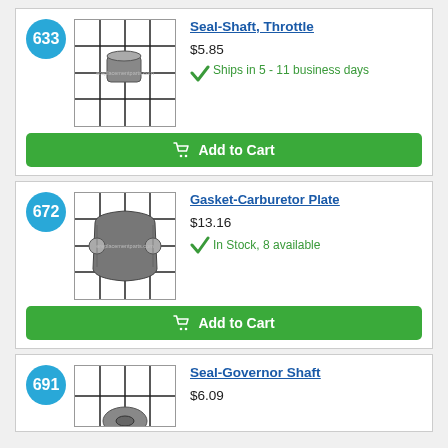[Figure (photo): Product image of Seal-Shaft Throttle part with grid overlay watermark]
633
Seal-Shaft, Throttle
$5.85
Ships in 5 - 11 business days
Add to Cart
[Figure (photo): Product image of Gasket-Carburetor Plate part with grid overlay watermark]
672
Gasket-Carburetor Plate
$13.16
In Stock, 8 available
Add to Cart
[Figure (photo): Product image of Seal-Governor Shaft part with grid overlay watermark]
691
Seal-Governor Shaft
$6.09